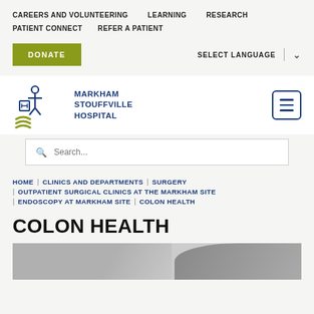CAREERS AND VOLUNTEERING | LEARNING | RESEARCH | PATIENT CONNECT | REFER A PATIENT
DONATE
SELECT LANGUAGE
[Figure (logo): Markham Stouffville Hospital logo with stylized figure and green wave marks]
Search...
HOME | CLINICS AND DEPARTMENTS | SURGERY | OUTPATIENT SURGICAL CLINICS AT THE MARKHAM SITE | ENDOSCOPY AT MARKHAM SITE | COLON HEALTH
COLON HEALTH
[Figure (photo): Partial image of medical professionals or clinic setting at bottom of page]